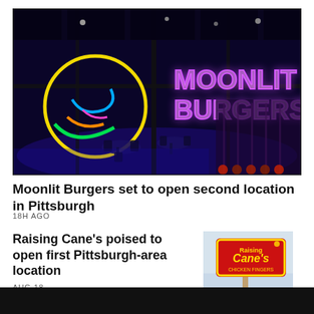[Figure (photo): Interior of Moonlit Burgers restaurant viewed through large window panes. Illuminated by blue/purple neon lighting. Neon sign reads 'MOONLIT BURGERS' on the right wall. A colorful neon burger mascot sign glows on the left. Tables and chairs visible inside.]
Moonlit Burgers set to open second location in Pittsburgh
18H AGO
Raising Cane's poised to open first Pittsburgh-area location
[Figure (photo): Raising Cane's Chicken Fingers restaurant sign on a pole against a light sky. Red and yellow logo visible.]
AUG 18